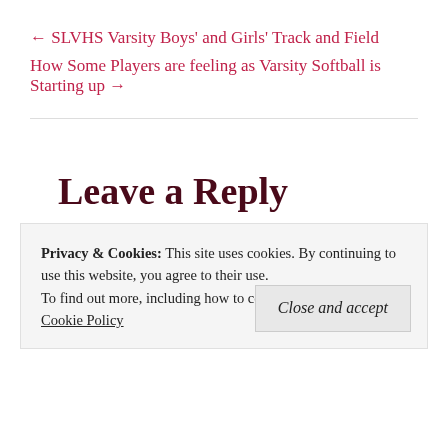← SLVHS Varsity Boys' and Girls' Track and Field
How Some Players are feeling as Varsity Softball is Starting up →
Leave a Reply
Privacy & Cookies: This site uses cookies. By continuing to use this website, you agree to their use. To find out more, including how to control cookies, see here: Cookie Policy